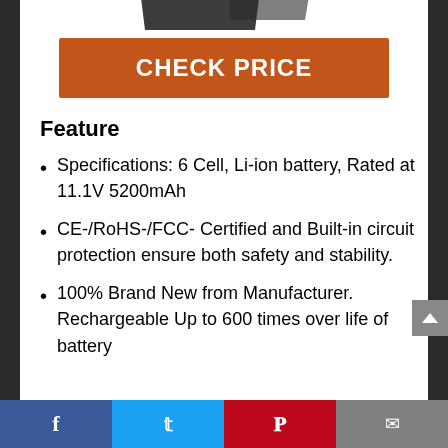[Figure (photo): Partial view of a black laptop battery product image at the top of the page]
CHECK PRICE
Feature
Specifications: 6 Cell, Li-ion battery, Rated at 11.1V 5200mAh
CE-/RoHS-/FCC- Certified and Built-in circuit protection ensure both safety and stability.
100% Brand New from Manufacturer. Rechargeable Up to 600 times over life of battery
Facebook | Twitter | Pinterest | Email